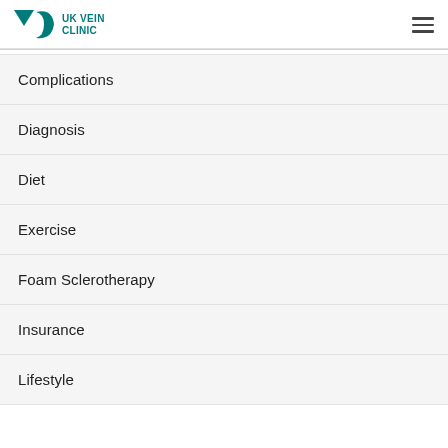UK VEIN CLINIC
Complications
Diagnosis
Diet
Exercise
Foam Sclerotherapy
Insurance
Lifestyle